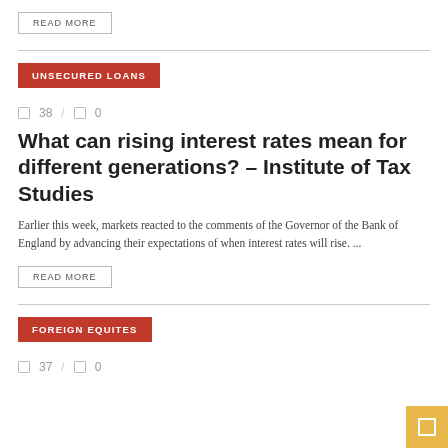READ MORE
UNSECURED LOANS
38 / 0
What can rising interest rates mean for different generations? – Institute of Tax Studies
Earlier this week, markets reacted to the comments of the Governor of the Bank of England by advancing their expectations of when interest rates will rise. ...
READ MORE
FOREIGN EQUITES
37 / 0